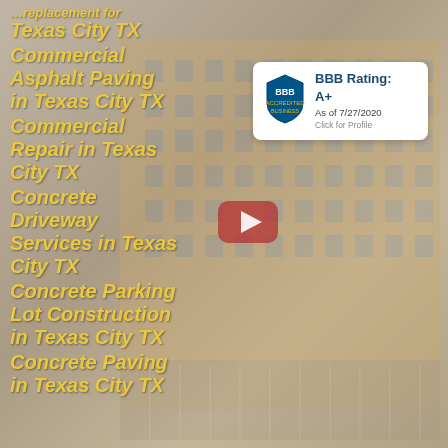[Figure (photo): Background photo of a commercial building under construction or renovation, with a parking lot visible]
Texas City TX
Commercial Asphalt Paving in Texas City TX
Commercial Repair in Texas City TX
Concrete Driveway Services in Texas City TX
Concrete Parking Lot Construction in Texas City TX
Concrete Paving in Texas City TX
[Figure (logo): BBB Accredited Business badge showing BBB Rating: A+ As of 7/27/2020 Click for Profile]